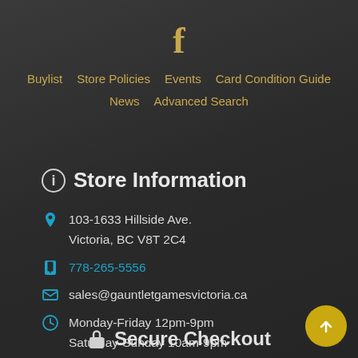[Figure (logo): Facebook 'f' icon in gold/tan color]
Buylist
Store Policies
Events
Card Condition Guide
News
Advanced Search
Store Information
103-1633 Hillside Ave.
Victoria, BC V8T 2C4
778-265-5556
sales@gauntletgamesvictoria.ca
Monday-Friday 12pm-9pm
Saturday-Sunday 10am-9pm
Secure Checkout